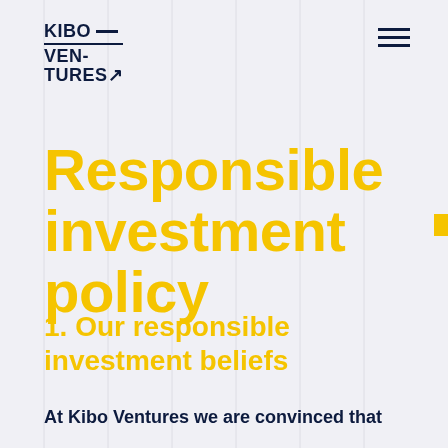KIBO VENTURES
Responsible investment policy
1. Our responsible investment beliefs
At Kibo Ventures we are convinced that